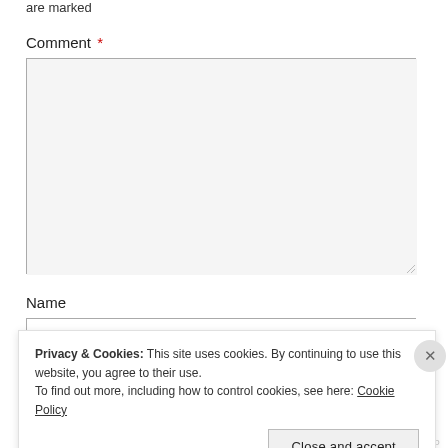are marked
Comment *
[Figure (other): Empty comment textarea input field with resize handle]
Name
[Figure (other): Empty name text input field]
Privacy & Cookies: This site uses cookies. By continuing to use this website, you agree to their use. To find out more, including how to control cookies, see here: Cookie Policy
Close and accept